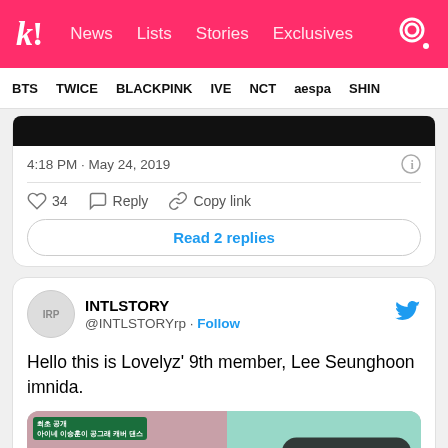k! News Lists Stories Exclusives
BTS TWICE BLACKPINK IVE NCT aespa SHIN
4:18 PM · May 24, 2019
34  Reply  Copy link
Read 2 replies
INTLSTORY @INTLSTORYrp · Follow
Hello this is Lovelyz' 9th member, Lee Seunghoon imnida.
[Figure (screenshot): Video preview thumbnail showing two people, with a 'Watch on Twitter' button overlay]